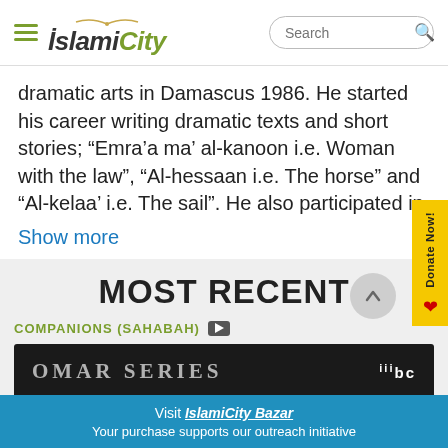IslamiCity [hamburger menu] [search box]
dramatic arts in Damascus 1986. He started his career writing dramatic texts and short stories; “Emra’a ma’ al-kanoon i.e. Woman with the law”, “Al-hessaan i.e. The horse” and “Al-kelaa’ i.e. The sail”. He also participated in
Show more
MOST RECENT
COMPANIONS (SAHABAH) [video icon]
[Figure (screenshot): Omar Series thumbnail image showing dark background with 'OMAR SERIES' text and MBC logo]
Visit IslamiCity Bazar
Your purchase supports our outreach initiative